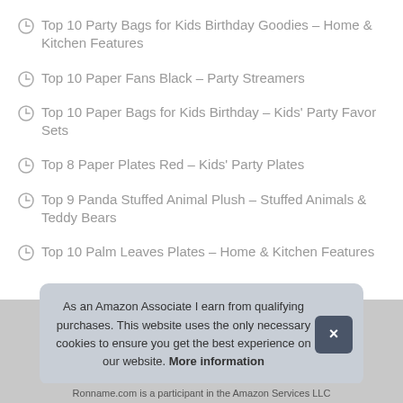Top 10 Party Bags for Kids Birthday Goodies – Home & Kitchen Features
Top 10 Paper Fans Black – Party Streamers
Top 10 Paper Bags for Kids Birthday – Kids' Party Favor Sets
Top 8 Paper Plates Red – Kids' Party Plates
Top 9 Panda Stuffed Animal Plush – Stuffed Animals & Teddy Bears
Top 10 Palm Leaves Plates – Home & Kitchen Features
As an Amazon Associate I earn from qualifying purchases. This website uses the only necessary cookies to ensure you get the best experience on our website. More information
Ronname.com is a participant in the Amazon Services LLC